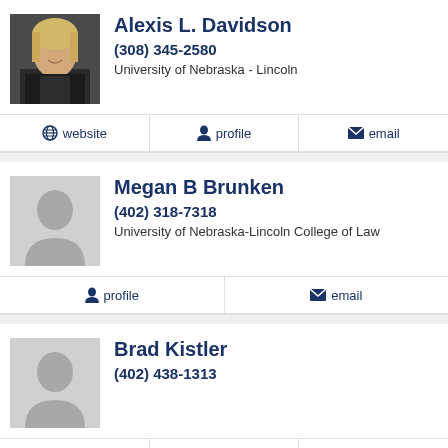[Figure (photo): Photo of Alexis L. Davidson, professional headshot, blonde woman in dark blazer]
Alexis L. Davidson
(308) 345-2580
University of Nebraska - Lincoln
website
profile
email
[Figure (photo): Placeholder silhouette for Megan B Brunken]
Megan B Brunken
(402) 318-7318
University of Nebraska-Lincoln College of Law
profile
email
[Figure (photo): Placeholder silhouette for Brad Kistler]
Brad Kistler
(402) 438-1313
website
profile
email